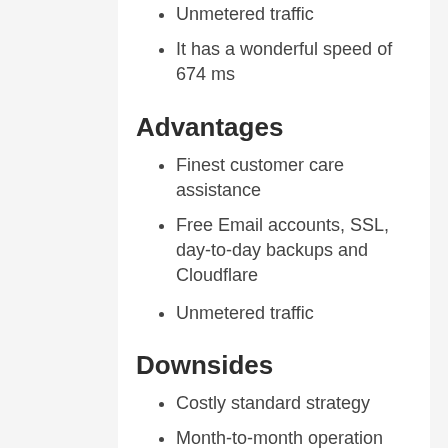Unmetered traffic
It has a wonderful speed of 674 ms
Advantages
Finest customer care assistance
Free Email accounts, SSL, day-to-day backups and Cloudflare
Unmetered traffic
Downsides
Costly standard strategy
Month-to-month operation charge
Dreamhost – no pricey renewals